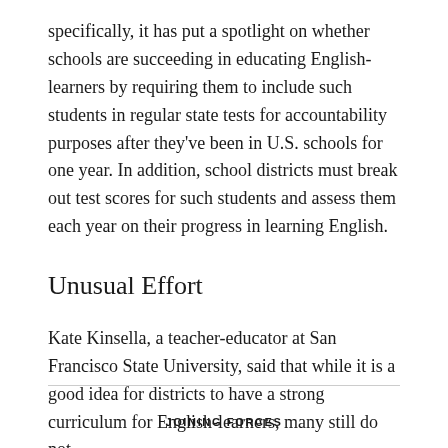specifically, it has put a spotlight on whether schools are succeeding in educating English-learners by requiring them to include such students in regular state tests for accountability purposes after they've been in U.S. schools for one year. In addition, school districts must break out test scores for such students and assess them each year on their progress in learning English.
Unusual Effort
Kate Kinsella, a teacher-educator at San Francisco State University, said that while it is a good idea for districts to have a strong curriculum for English-learners, many still do not.
JOINING FORCES